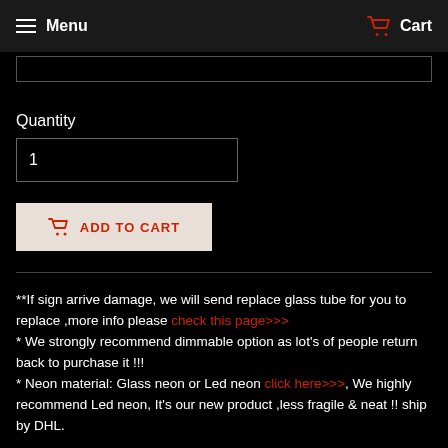Menu  Cart
Quantity
1
ADD TO CART
**If sign arrive damage, we will send replace glass tube for you to replace ,more info please check this page>>>
* We strongly recommend dimmable option as lot's of people return back to purchase it !!!
* Neon material: Glass neon or Led neon click here>>>, We highly recommend Led neon, It's our new product ,less fragile & neat !! ship by DHL.